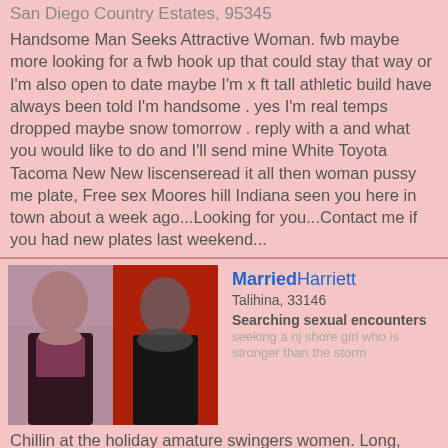San Diego Country Estates, 95345
Handsome Man Seeks Attractive Woman. fwb maybe more looking for a fwb hook up that could stay that way or I'm also open to date maybe I'm x ft tall athletic build have always been told I'm handsome . yes I'm real temps dropped maybe snow tomorrow . reply with a and what you would like to do and I'll send mine White Toyota Tacoma New New liscenseread it all then woman pussy me plate, Free sex Moores hill Indiana seen you here in town about a week ago...Looking for you...Contact me if you had new plates last weekend...
[Figure (photo): Two photos side by side of women]
MarriedHarriett
Talihina, 33146
Searching sexual encounters seeking a nj shore girl who is stronger than the storm
Chillin at the holiday amature swingers women. Long, Loving, free horney girls Belle Glade Florida Lasting